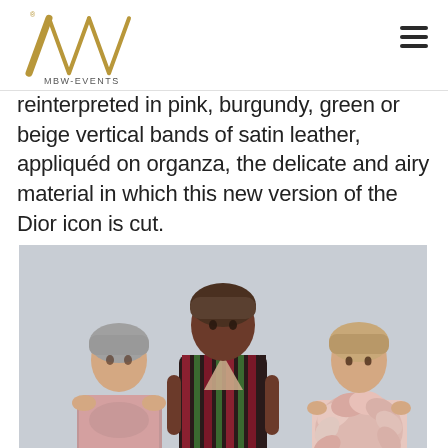MBW-EVENTS logo and navigation
reinterpreted in pink, burgundy, green or beige vertical bands of satin leather, appliquéd on organza, the delicate and airy material in which this new version of the Dior icon is cut.
[Figure (photo): Three female models wearing Dior fashion outfits — left model in pink/blush embellished gown, center model in dark burgundy and green vertical striped jumpsuit, right model in blush pink ruffled/feathered top. All wearing close-fitting caps. Light grey background.]